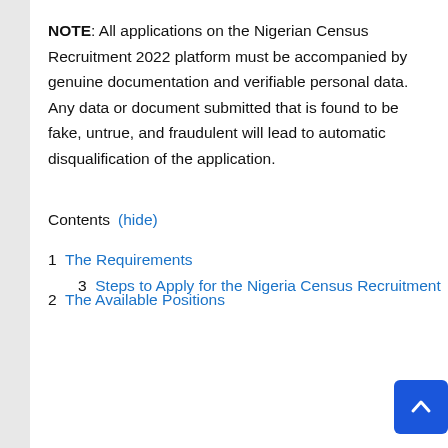NOTE: All applications on the Nigerian Census Recruitment 2022 platform must be accompanied by genuine documentation and verifiable personal data. Any data or document submitted that is found to be fake, untrue, and fraudulent will lead to automatic disqualification of the application.
Contents (hide)
1 The Requirements
2 The Available Positions
3 Steps to Apply for the Nigeria Census Recruitment